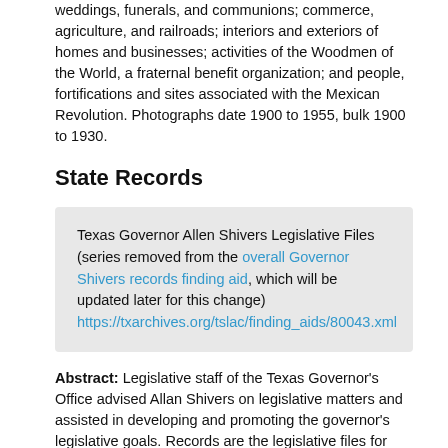weddings, funerals, and communions; commerce, agriculture, and railroads; interiors and exteriors of homes and businesses; activities of the Woodmen of the World, a fraternal benefit organization; and people, fortifications and sites associated with the Mexican Revolution. Photographs date 1900 to 1955, bulk 1900 to 1930.
State Records
Texas Governor Allen Shivers Legislative Files (series removed from the overall Governor Shivers records finding aid, which will be updated later for this change) https://txarchives.org/tslac/finding_aids/80043.xml
Abstract: Legislative staff of the Texas Governor's Office advised Allan Shivers on legislative matters and assisted in developing and promoting the governor's legislative goals. Records are the legislative files for Governor Allan Shivers and consist of bills, clippings, related records,